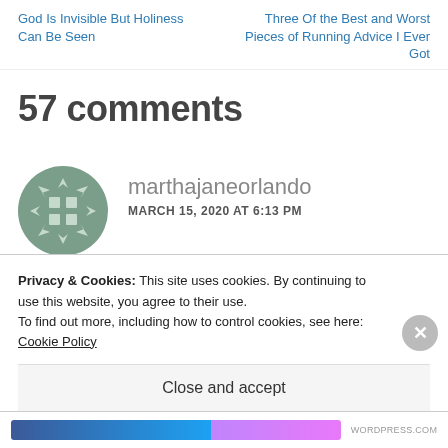God Is Invisible But Holiness Can Be Seen
Three Of the Best and Worst Pieces of Running Advice I Ever Got
57 comments
[Figure (logo): Green circular snowflake/pinwheel avatar logo for marthajaneorlando]
marthajaneorlando
MARCH 15, 2020 AT 6:13 PM
Privacy & Cookies: This site uses cookies. By continuing to use this website, you agree to their use.
To find out more, including how to control cookies, see here: Cookie Policy
Close and accept